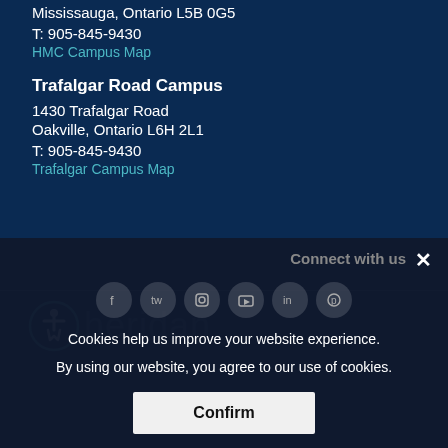Mississauga, Ontario L5B 0G5
T: 905-845-9430
HMC Campus Map
Trafalgar Road Campus
1430 Trafalgar Road
Oakville, Ontario L6H 2L1
T: 905-845-9430
Trafalgar Campus Map
[Figure (logo): Accessibility icon and Sheridan College logo]
Connect with us
Cookies help us improve your website experience. By using our website, you agree to our use of cookies.
Confirm